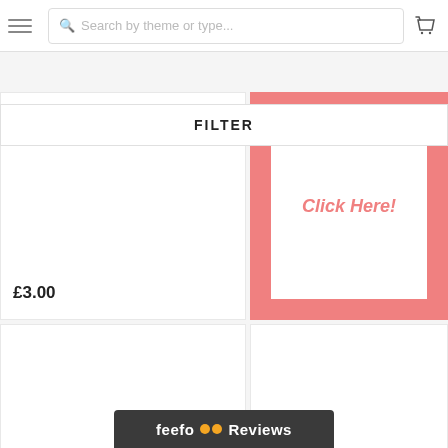Search by theme or type...
FILTER
Of You
£3.00
[Figure (illustration): Pink promotional banner with 'Click Here!' text in coral/red color on white background, surrounded by pink border]
feefo Reviews